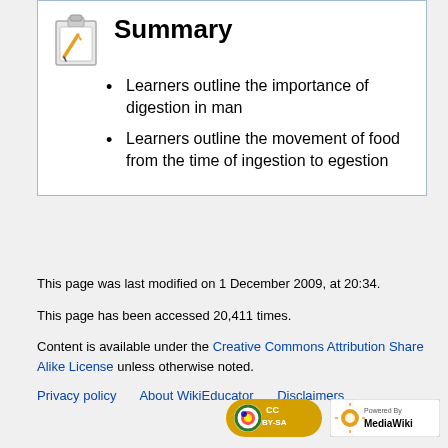Summary
Learners outline the importance of digestion in man
Learners outline the movement of food from the time of ingestion to egestion
This page was last modified on 1 December 2009, at 20:34.
This page has been accessed 20,411 times.
Content is available under the Creative Commons Attribution Share Alike License unless otherwise noted.
Privacy policy   About WikiEducator   Disclaimers